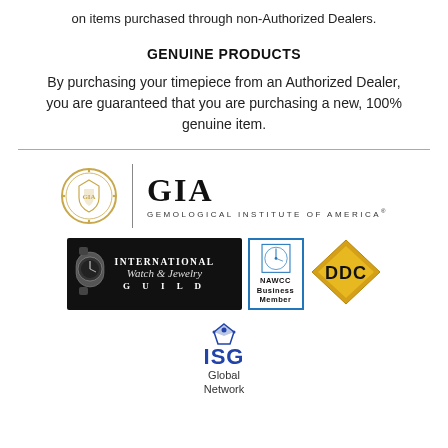on items purchased through non-Authorized Dealers.
GENUINE PRODUCTS
By purchasing your timepiece from an Authorized Dealer, you are guaranteed that you are purchasing a new, 100% genuine item.
[Figure (logo): GIA Gemological Institute of America logo with medallion seal and vertical divider]
[Figure (logo): International Watch & Jewelry Guild logo on black background]
[Figure (logo): NAWCC Business Member logo in blue border]
[Figure (logo): DDC diamond-shaped logo with bold DDC letters]
[Figure (logo): ISG Global Network logo with crown/diamond icon]